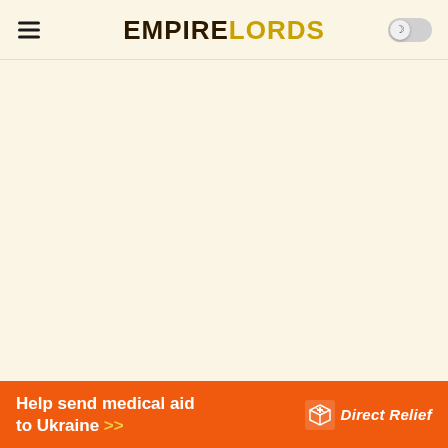EMPIRELORDS
[Figure (other): Empty cream/beige content area below the navigation header]
[Figure (other): Orange advertisement banner reading 'Help send medical aid to Ukraine >>' with Direct Relief logo]